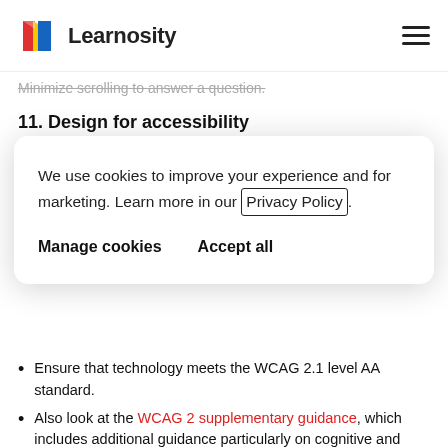Learnosity
Minimize scrolling to answer a question.
11. Design for accessibility
We use cookies to improve your experience and for marketing. Learn more in our Privacy Policy. [Manage cookies] [Accept all]
Ensure that technology meets the WCAG 2.1 level AA standard.
Also look at the WCAG 2 supplementary guidance, which includes additional guidance particularly on cognitive and learning disabilities.